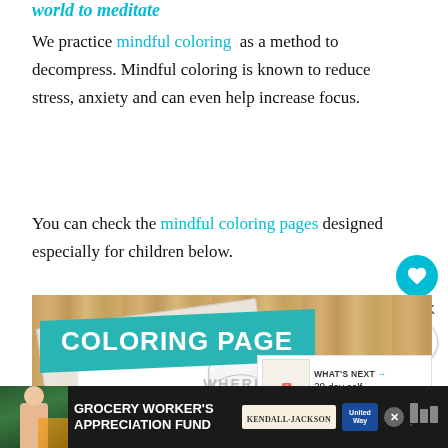world to meditate
We practice mindful coloring as a method to decompress. Mindful coloring is known to reduce stress, anxiety and can even help increase focus.
You can check the mindful coloring pages designed especially for children below.
[Figure (photo): A coloring page image with a teal 'COLORING PAGE' banner over a wooden background, showing a coloring sheet with 'WHEREVER YOU GO, NO MATTER' text and a 'What's Next: 30 day self-care ideas t...' overlay box]
[Figure (infographic): Ad banner: Grocery Worker's Appreciation Fund with Kendall-Jackson and United Way logos]